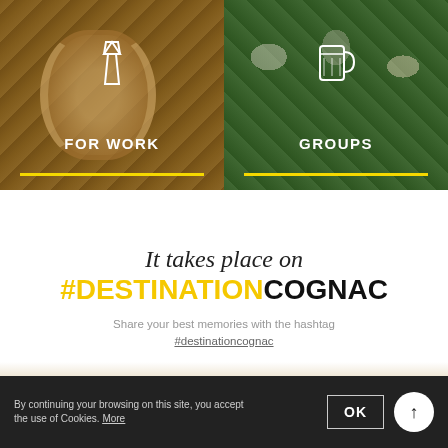[Figure (photo): Two side-by-side photos. Left: wooden barrel in warm interior setting with tie icon and text FOR WORK, yellow underline. Right: group of people on a boat outdoors with beer mug icon and text GROUPS, yellow underline.]
It takes place on
#DESTINATIONCOGNAC
Share your best memories with the hashtag #destinationcognac
By continuing your browsing on this site, you accept the use of Cookies. More  OK  ↑